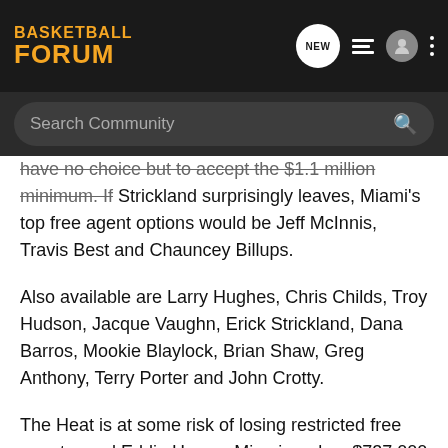BASKETBALL FORUM
have no choice but to accept the $1.1 million minimum. If Strickland surprisingly leaves, Miami's top free agent options would be Jeff McInnis, Travis Best and Chauncey Billups.
Also available are Larry Hughes, Chris Childs, Troy Hudson, Jacque Vaughn, Erick Strickland, Dana Barros, Mookie Blaylock, Brian Shaw, Greg Anthony, Terry Porter and John Crotty.
The Heat is at some risk of losing restricted free agent guard Eddie House. Miami made a $737,000 qualifying offer, allowing the Heat the right to match any offer. Miami likely would let House leave if a team surprisingly offers most of its exception.
Riley said he feels no need to add another power-rotation player, beyond re-signing Vladimir Stepania. "We have enough